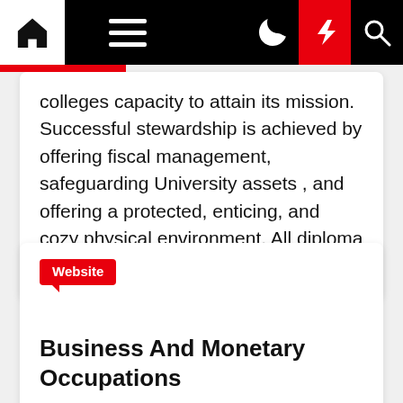Navigation bar with home, menu, moon, lightning, and search icons
colleges capacity to attain its mission. Successful stewardship is achieved by offering fiscal management, safeguarding University assets , and offering a protected, enticing, and cozy physical environment. All diploma [...]
Website
Business And Monetary Occupations
Noble Horvath  ⊙ 1 year ago
As a student pursuing your MBA with a focus in worldwide finance at TROY, you'll have the chance